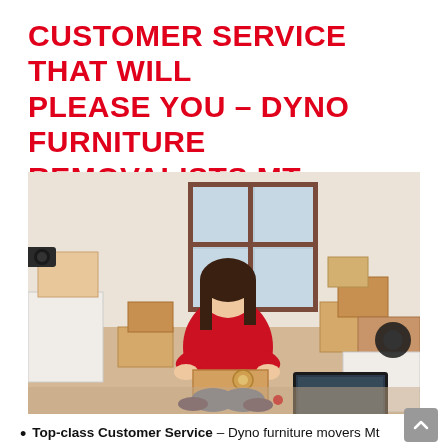CUSTOMER SERVICE THAT WILL PLEASE YOU – DYNO FURNITURE REMOVALISTS MT GRAVATT
[Figure (photo): A woman in a red top sitting cross-legged on the floor surrounded by cardboard moving boxes, taping up a box, with a laptop open nearby]
Top-class Customer Service – Dyno furniture movers Mt